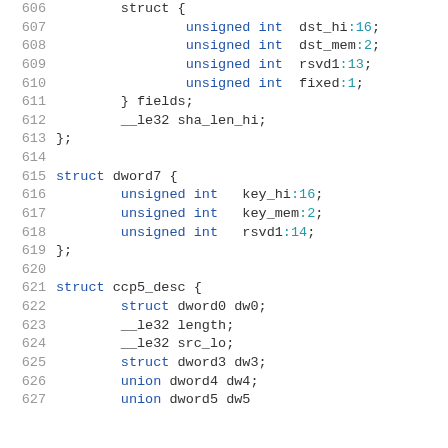Code listing lines 606-627 showing C struct definitions
[Figure (screenshot): Source code snippet in monospace font showing C struct definitions with line numbers 606-627. Includes struct fields with unsigned int bit fields and nested struct/union declarations for dword7 and ccp5_desc.]